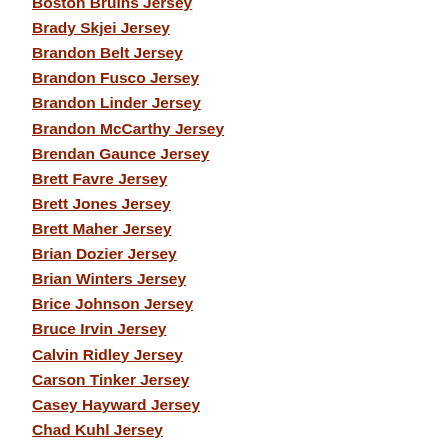Boston Bruins Jersey
Brady Skjei Jersey
Brandon Belt Jersey
Brandon Fusco Jersey
Brandon Linder Jersey
Brandon McCarthy Jersey
Brendan Gaunce Jersey
Brett Favre Jersey
Brett Jones Jersey
Brett Maher Jersey
Brian Dozier Jersey
Brian Winters Jersey
Brice Johnson Jersey
Bruce Irvin Jersey
Calvin Ridley Jersey
Carson Tinker Jersey
Casey Hayward Jersey
Chad Kuhl Jersey
Chad Ruhwedel Jersey
Chase Allen Jersey
Chris Chelios Jersey
Chris Herren Jr Jersey